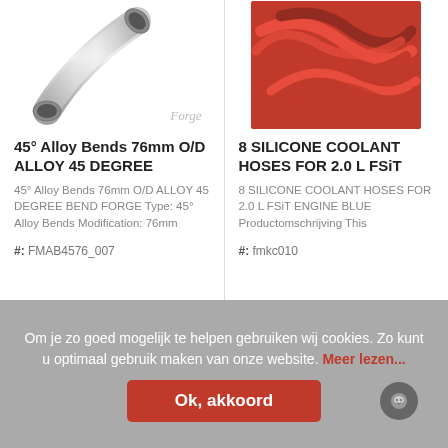[Figure (photo): Photo of a silver/chrome 45-degree alloy bend pipe on white background with 'Forge' watermark]
45° Alloy Bends 76mm O/D ALLOY 45 DEGREE
45° Alloy Bends 76mm O/D ALLOY 45 DEGREE BEND FORGE Type: 45° Alloy Bends Modification: 76mm
#: FMAB4576_007
[Figure (photo): Photo of red silicone coolant hoses set on red background]
8 SILICONE COOLANT HOSES FOR 2.0 L FSiT
8 SILICONE COOLANT HOSES FOR 2.0 L FSiT ENGINE BLUE Productomschrijving This
#: fmkc010
Om je zo goed mogelijk te helpen gebruiken wij cookies. Zo kunt u optimaal gebruik maken van onze website. Meer lezen...
Ok, akkoord